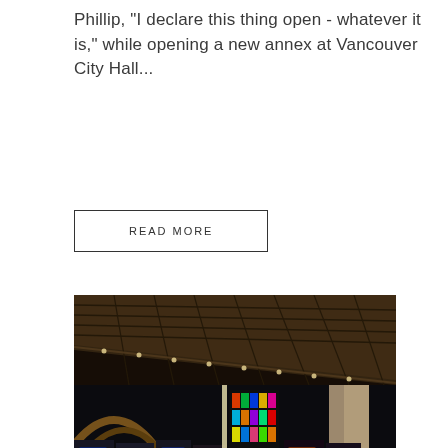Phillip, "I declare this thing open - whatever it is," while opening a new annex at Vancouver City Hall...
READ MORE
[Figure (photo): Interior of a casino floor showing slot machines, decorative neon lighting, stained glass art, and a large wooden ceiling viewed at an angle. Dark atmospheric lighting with colorful machine displays.]
SUPERIOR